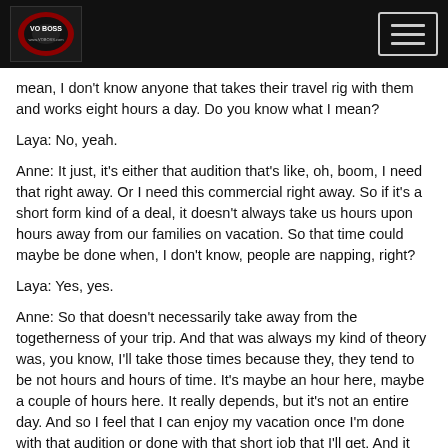VO Boss logo and navigation menu
mean, I don't know anyone that takes their travel rig with them and works eight hours a day. Do you know what I mean?
Laya: No, yeah.
Anne: It just, it's either that audition that's like, oh, boom, I need that right away. Or I need this commercial right away. So if it's a short form kind of a deal, it doesn't always take us hours upon hours away from our families on vacation. So that time could maybe be done when, I don't know, people are napping, right?
Laya: Yes, yes.
Anne: So that doesn't necessarily take away from the togetherness of your trip. And that was always my kind of theory was, you know, I'll take those times because they, they tend to be not hours and hours of time. It's maybe an hour here, maybe a couple of hours here. It really depends, but it's not an entire day. And so I feel that I can enjoy my vacation once I'm done with that audition or done with that short job that I'll get. And it never takes me completely away.